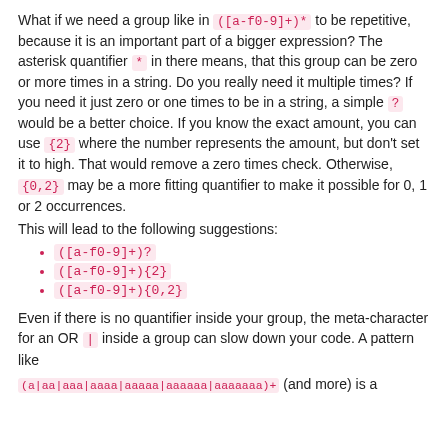What if we need a group like in ([a-f0-9]+)* to be repetitive, because it is an important part of a bigger expression? The asterisk quantifier * in there means, that this group can be zero or more times in a string. Do you really need it multiple times? If you need it just zero or one times to be in a string, a simple ? would be a better choice. If you know the exact amount, you can use {2} where the number represents the amount, but don't set it to high. That would remove a zero times check. Otherwise, {0,2} may be a more fitting quantifier to make it possible for 0, 1 or 2 occurrences.
This will lead to the following suggestions:
([a-f0-9]+)?
([a-f0-9]+){2}
([a-f0-9]+){0,2}
Even if there is no quantifier inside your group, the meta-character for an OR | inside a group can slow down your code. A pattern like (a|aa|aaa|aaaa|aaaaa|aaaaaa|aaaaaaa)+ (and more) is a